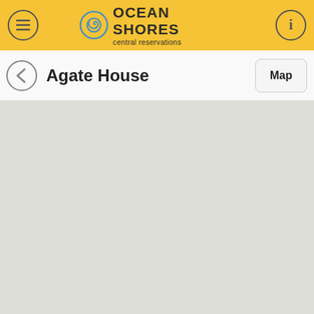OCEAN SHORES central reservations
Agate House
[Figure (map): Map view showing a light grey map area for Agate House location in Ocean Shores central reservations app]